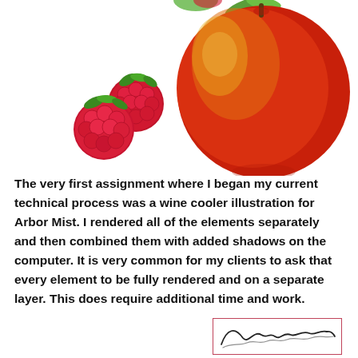[Figure (illustration): Two red raspberries with green leaves on the left, and a large red apple with green leaves on the right, on white background.]
The very first assignment where I began my current technical process was a wine cooler illustration for Arbor Mist. I rendered all of the elements separately and then combined them with added shadows on the computer. It is very common for my clients to ask that every element to be fully rendered and on a separate layer. This does require additional time and work.
[Figure (illustration): Handwritten signature in cursive script inside a thin pink/red rectangular border.]